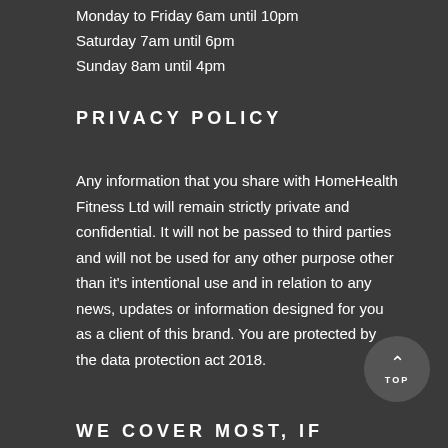Monday to Friday 6am until 10pm
Saturday 7am until 6pm
Sunday 8am until 4pm
PRIVACY POLICY
Any information that you share with HomeHealth Fitness Ltd will remain strictly private and confidential. It will not be passed to third parties and will not be used for any other purpose other than it's intentional use and in relation to any news, updates or information designed for you as a client of this brand. You are protected by the data protection act 2018.
WE COVER MOST, IF